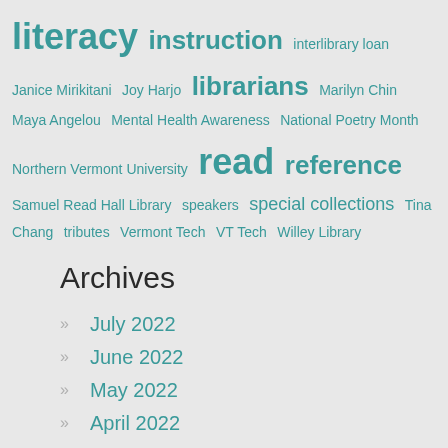literacy instruction interlibrary loan Janice Mirikitani Joy Harjo librarians Marilyn Chin Maya Angelou Mental Health Awareness National Poetry Month Northern Vermont University read reference Samuel Read Hall Library speakers special collections Tina Chang tributes Vermont Tech VT Tech Willey Library
Archives
July 2022
June 2022
May 2022
April 2022
March 2022
February 2022